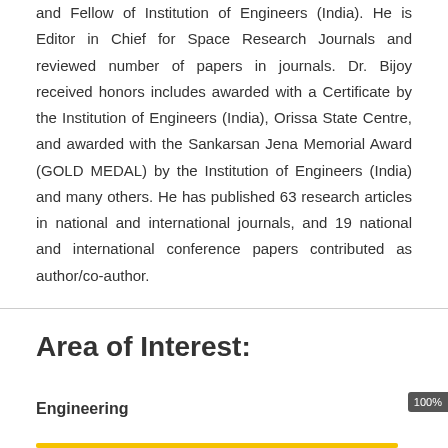and Fellow of Institution of Engineers (India). He is Editor in Chief for Space Research Journals and reviewed number of papers in journals. Dr. Bijoy received honors includes awarded with a Certificate by the Institution of Engineers (India), Orissa State Centre, and awarded with the Sankarsan Jena Memorial Award (GOLD MEDAL) by the Institution of Engineers (India) and many others. He has published 63 research articles in national and international journals, and 19 national and international conference papers contributed as author/co-author.
Area of Interest:
Engineering